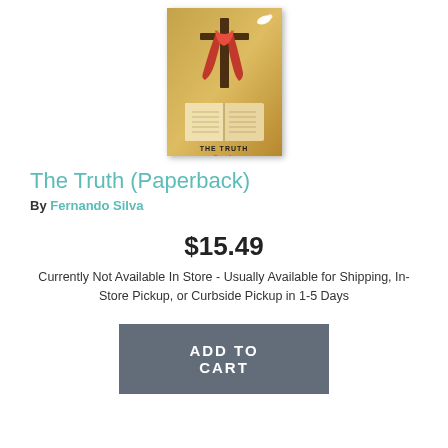[Figure (photo): Book cover of 'The Truth' by Fernando Silva — features a cross with a red cloth draped over it and an open Bible at the bottom, against a golden/brown background with a white dove at the top right.]
The Truth (Paperback)
By Fernando Silva
$15.49
Currently Not Available In Store - Usually Available for Shipping, In-Store Pickup, or Curbside Pickup in 1-5 Days
ADD TO CART